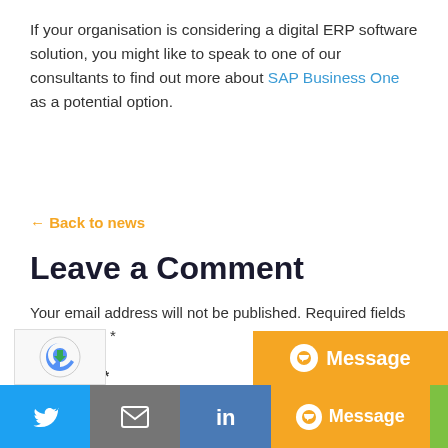If your organisation is considering a digital ERP software solution, you might like to speak to one of our consultants to find out more about SAP Business One as a potential option.
← Back to news
Leave a Comment
Your email address will not be published. Required fields are marked *
Comment *
[Figure (logo): reCAPTCHA badge with blue arrow circular logo]
[Figure (infographic): Orange Message button with chat bubble icon]
[Figure (infographic): Social sharing bar with Twitter (blue), Email (grey), LinkedIn (blue), and Message (orange) buttons]